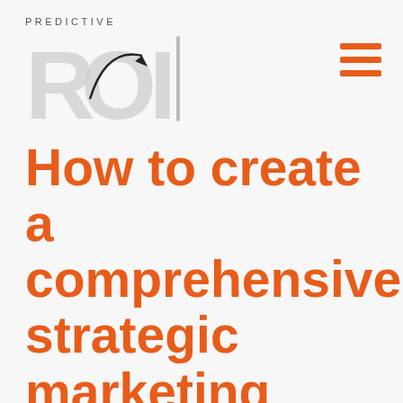[Figure (logo): Predictive ROI logo with curved arrow graphic and text 'PREDICTIVE' above stylized 'ROI' letters in gray]
[Figure (other): Hamburger menu icon — three horizontal orange bars]
How to create a comprehensive strategic marketing plan, with Steve Ole...